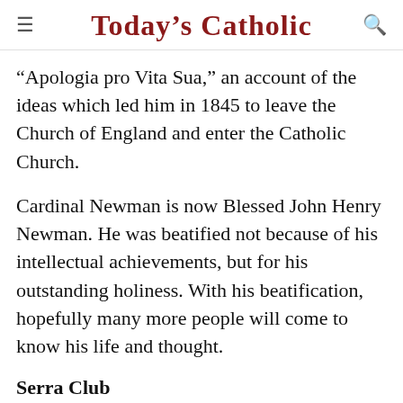Today's Catholic
“Apologia pro Vita Sua,” an account of the ideas which led him in 1845 to leave the Church of England and enter the Catholic Church.
Cardinal Newman is now Blessed John Henry Newman. He was beatified not because of his intellectual achievements, but for his outstanding holiness. With his beatification, hopefully many more people will come to know his life and thought.
Serra Club
On Friday, Sept. 10, I celebrated Mass for the Serra Club of Fort Wayne in the chapel of Saint Joseph